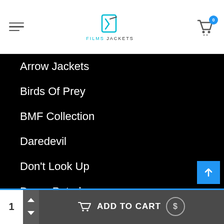Films Jackets - navigation header with cart (0 items)
Arrow Jackets
Birds Of Prey
BMF Collection
Daredevil
Don't Look Up
Doom Patrol
Fast And The Furious
Fight Club Jackets
Justice League
Kingsman
1  ADD TO CART